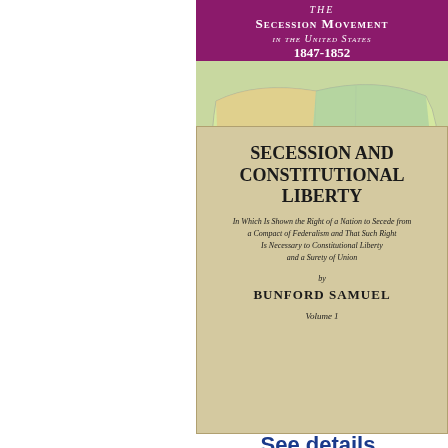[Figure (illustration): Book cover for 'The Secession Movement in the United States 1847-1852' by Melvin Johnson White, published with a purple/magenta cover featuring a map of the United States]
See details
[Figure (illustration): Book cover for 'Secession and Constitutional Liberty' by Bunford Samuel, Volume 1, with beige/tan background]
See details